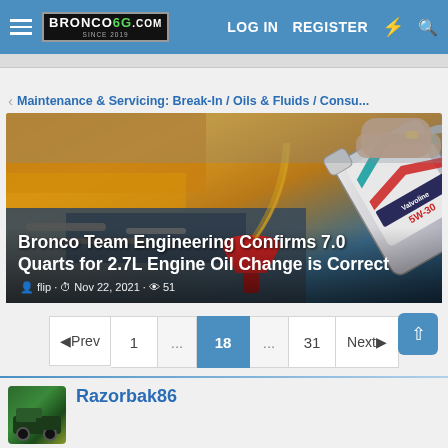BRONCO6G.COM | LOG IN | REGISTER
Maintenance & Servicing: Break-In / Oils & Fluids / Consu...
[Figure (photo): Photo of someone pouring Valvoline 5W-30 oil into a yellow Ford Bronco engine bay using a red funnel]
Bronco Team Engineering Confirms 7.0 Quarts for 2.7L Engine Oil Change is Correct
flip · Nov 22, 2021 · 51
◄Prev  1  ...  18  ...  31  Next►
Razorbak86